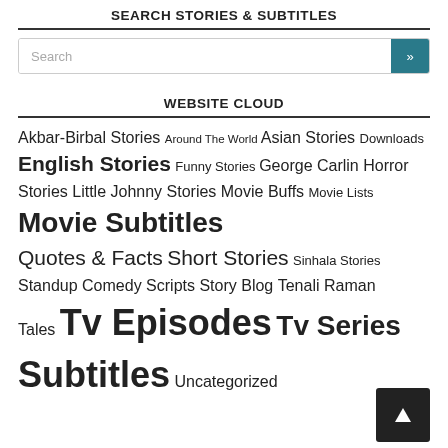SEARCH STORIES & SUBTITLES
[Figure (other): Search input box with a teal search button showing double chevron]
WEBSITE CLOUD
Akbar-Birbal Stories Around The World Asian Stories Downloads English Stories Funny Stories George Carlin Horror Stories Little Johnny Stories Movie Buffs Movie Lists Movie Subtitles Quotes & Facts Short Stories Sinhala Stories Standup Comedy Scripts Story Blog Tenali Raman Tales Tv Episodes Tv Series Subtitles Uncategorized